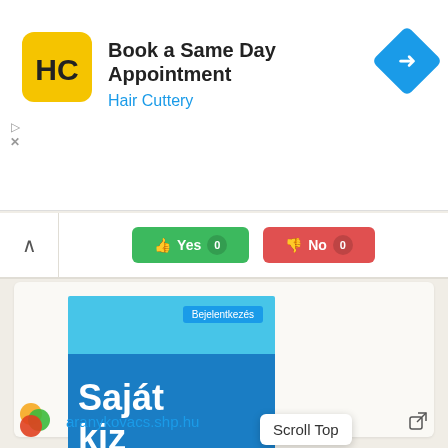[Figure (screenshot): Hair Cuttery advertisement banner: yellow logo with HC letters, 'Book a Same Day Appointment' title text, 'Hair Cuttery' subtitle in blue, blue diamond navigation arrow icon on right]
[Figure (screenshot): Vote buttons row showing Yes (green) and No (red) buttons with counts, and a chevron/collapse arrow on the left]
[Figure (screenshot): Website screenshot thumbnail showing 'Bejelentkezés' login button on light blue background and 'Saját kiz...' text on dark blue background, with siteprice.org watermark]
Scroll Top
[Figure (screenshot): Like button with heart icon showing 'Like 0' count in teal/cyan color]
aranykovacs.shp.hu